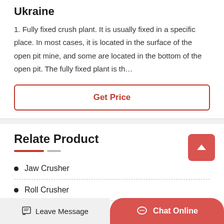Ukraine
1. Fully fixed crush plant. It is usually fixed in a specific place. In most cases, it is located in the surface of the open pit mine, and some are located in the bottom of the open pit. The fully fixed plant is th…
Get Price
Relate Product
Jaw Crusher
Roll Crusher
Leave Message | Chat Online